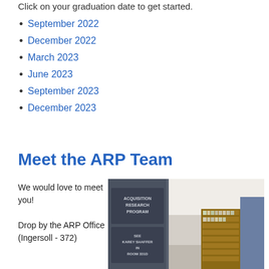Click on your graduation date to get started.
September 2022
December 2022
March 2023
June 2023
September 2023
December 2023
Meet the ARP Team
We would love to meet you!

Drop by the ARP Office (Ingersoll - 372)
[Figure (photo): Photo of the ARP office door sign reading ACQUISITION RESEARCH PROGRAM and SEE KAREY SHAFFER IN ROOM 331D, with bookshelves visible in the background]